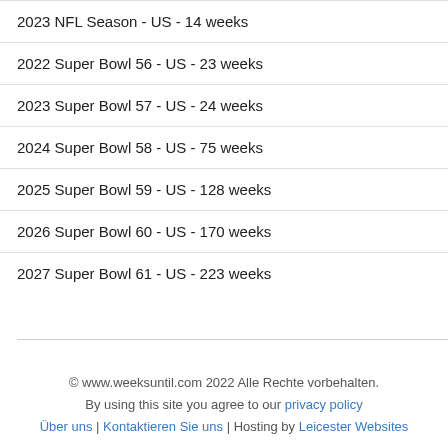2023 NFL Season - US - 14 weeks
2022 Super Bowl 56 - US - 23 weeks
2023 Super Bowl 57 - US - 24 weeks
2024 Super Bowl 58 - US - 75 weeks
2025 Super Bowl 59 - US - 128 weeks
2026 Super Bowl 60 - US - 170 weeks
2027 Super Bowl 61 - US - 223 weeks
© www.weeksuntil.com 2022 Alle Rechte vorbehalten. By using this site you agree to our privacy policy Über uns | Kontaktieren Sie uns | Hosting by Leicester Websites